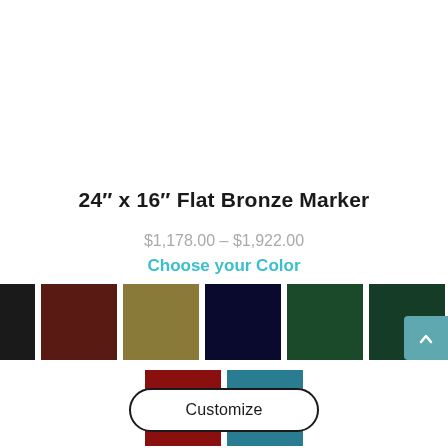24" x 16" Flat Bronze Marker
$1,178.00 – $1,922.00
Choose your Color
[Figure (other): Ten color swatches arranged in two rows: row 1 has very dark brown/black, black, dark brown/maroon, tan/khaki, navy blue, dark green, forest green, dark wine/maroon; row 2 has red, teal/blue]
Customize